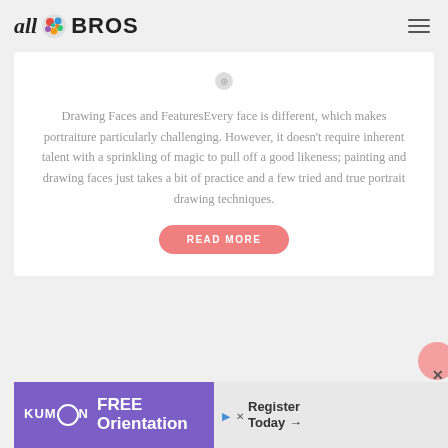all BROS
Drawing Faces and FeaturesEvery face is different, which makes portraiture particularly challenging. However, it doesn’t require inherent talent with a sprinkling of magic to pull off a good likeness; painting and drawing faces just takes a bit of practice and a few tried and true portrait drawing techniques.
READ MORE
[Figure (illustration): Kumon FREE Orientation advertisement banner with purple and grey background, Register Today arrow button]